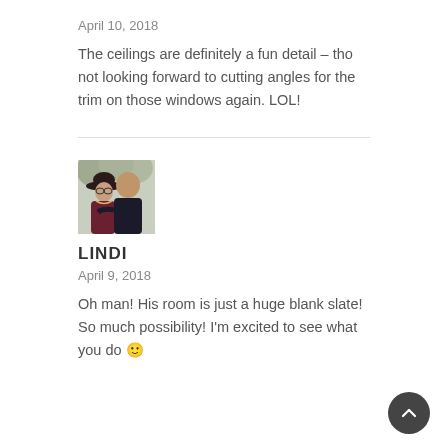April 10, 2018
The ceilings are definitely a fun detail – tho not looking forward to cutting angles for the trim on those windows again. LOL!
[Figure (photo): Avatar photo of a couple, a woman with a wide-brim hat and a man, outdoors with blurred trees in background]
LINDI
April 9, 2018
Oh man! His room is just a huge blank slate! So much possibility! I'm excited to see what you do 🙂